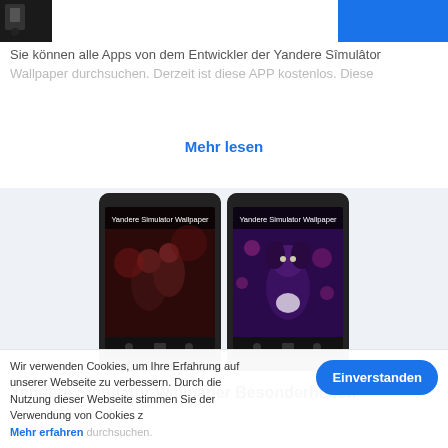[Figure (screenshot): App thumbnail image - dark/black square thumbnail on the left, blue button on the right]
Sie können alle Apps von dem Entwickler der Yandere Sîmulâtor Wallpaper durchsuchen. Derzeit ist diese APP kostenlos. Diese
Mehr lesen
[Figure (screenshot): Two smartphone screenshots of Yandere Simulator Wallpaper app, showing anime character wallpapers on phone screens]
Yandere Simulator Wallpaper Besonderheiten
Wir verwenden Cookies, um Ihre Erfahrung auf unserer Webseite zu verbessern. Durch die Nutzung dieser Webseite stimmen Sie der Verwendung von Cookies z Mehr erfahren durchsuchen.
Einverstanden